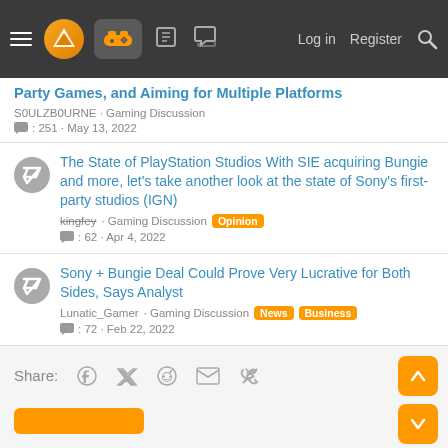Navigation bar with logo, controller icon, forum icons, Log in, Register, Search
Party Games, and Aiming for Multiple Platforms
S0ULZB0URNE · Gaming Discussion · 💬 : 251 · May 13, 2022
The State of PlayStation Studios With SIE acquiring Bungie and more, let's take another look at the state of Sony's first-party studios (IGN)
kingfey · Gaming Discussion [Opinion] · 💬 : 62 · Apr 4, 2022
Sony + Bungie Deal Could Prove Very Lucrative for Both Sides, Says Analyst
Lunatic_Gamer · Gaming Discussion [News][Business] · 💬 : 72 · Feb 22, 2022
Share: (facebook) (twitter) (reddit) (email) (link)